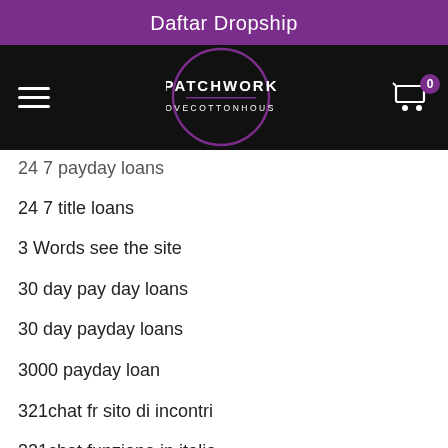Daftar Dropship
[Figure (logo): Patchwork Lovecottonhouse logo in a circle, with hamburger menu on left and shopping cart with badge '0' on right, on black background nav bar]
24 7 payday loans
24 7 title loans
3 Words see the site
30 day pay day loans
30 day payday loans
3000 payday loan
321chat fr sito di incontri
321chat funziona in italia
321chat login